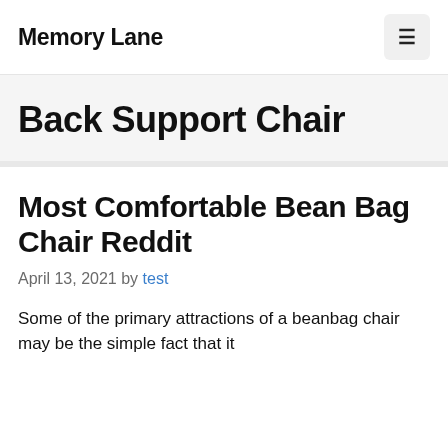Memory Lane
Back Support Chair
Most Comfortable Bean Bag Chair Reddit
April 13, 2021 by test
Some of the primary attractions of a beanbag chair may be the simple fact that it